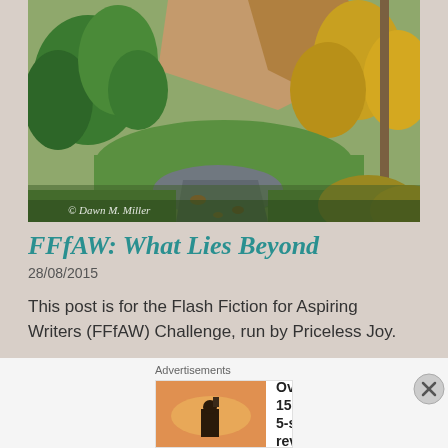[Figure (photo): Autumn landscape photograph showing a winding path or road through trees with fall foliage in yellow, orange, and green. Rocky hillside visible in background. Watermark reads '© Dawn M. Miller']
FFfAW: What Lies Beyond
28/08/2015
This post is for the Flash Fiction for Aspiring Writers (FFfAW) Challenge, run by Priceless Joy.
[Figure (screenshot): Advertisement banner showing a person photographing a sunset, with text 'Over 150,000 5-star reviews' and Day One Journal logo]